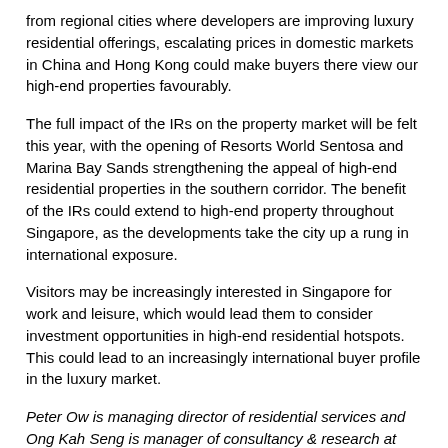from regional cities where developers are improving luxury residential offerings, escalating prices in domestic markets in China and Hong Kong could make buyers there view our high-end properties favourably.
The full impact of the IRs on the property market will be felt this year, with the opening of Resorts World Sentosa and Marina Bay Sands strengthening the appeal of high-end residential properties in the southern corridor. The benefit of the IRs could extend to high-end property throughout Singapore, as the developments take the city up a rung in international exposure.
Visitors may be increasingly interested in Singapore for work and leisure, which would lead them to consider investment opportunities in high-end residential hotspots. This could lead to an increasingly international buyer profile in the luxury market.
Peter Ow is managing director of residential services and Ong Kah Seng is manager of consultancy & research at Knight Frank Pte Ltd